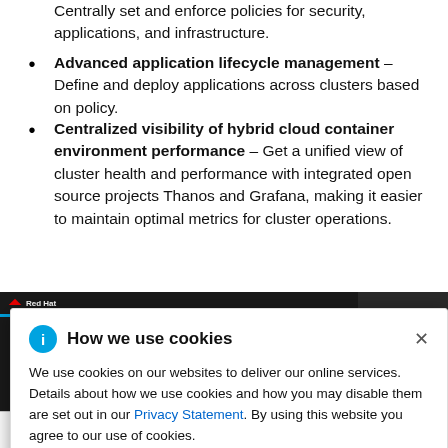Centrally set and enforce policies for security, applications, and infrastructure.
Advanced application lifecycle management – Define and deploy applications across clusters based on policy.
Centralized visibility of hybrid cloud container environment performance – Get a unified view of cluster health and performance with integrated open source projects Thanos and Grafana, making it easier to maintain optimal metrics for cluster operations.
[Figure (screenshot): Screenshot of Red Hat web interface with a cookie consent modal dialog overlay. The modal has a blue info icon, title 'How we use cookies', and body text about cookie usage with a Privacy Statement link.]